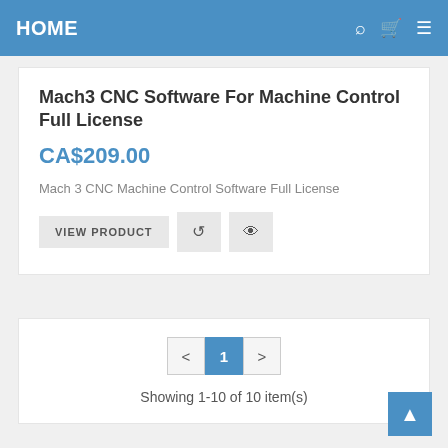HOME
Mach3 CNC Software For Machine Control Full License
CA$209.00
Mach 3 CNC Machine Control Software Full License
VIEW PRODUCT
Showing 1-10 of 10 item(s)